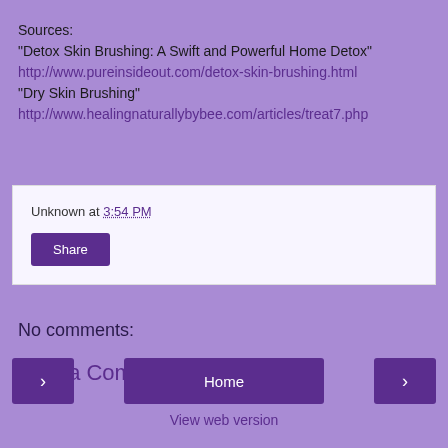Sources:
"Detox Skin Brushing: A Swift and Powerful Home Detox"
http://www.pureinsideout.com/detox-skin-brushing.html
"Dry Skin Brushing"
http://www.healingnaturallybybee.com/articles/treat7.php
Unknown at 3:54 PM
Share
No comments:
Post a Comment
Home
View web version